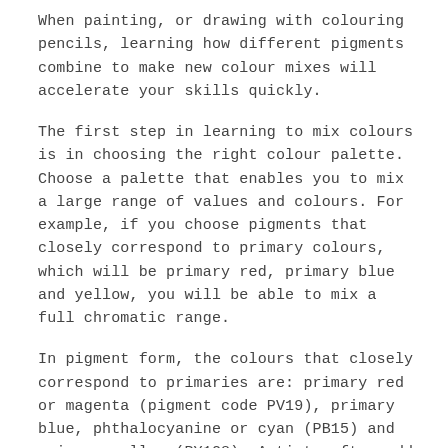When painting, or drawing with colouring pencils, learning how different pigments combine to make new colour mixes will accelerate your skills quickly.
The first step in learning to mix colours is in choosing the right colour palette. Choose a palette that enables you to mix a large range of values and colours. For example, if you choose pigments that closely correspond to primary colours, which will be primary red, primary blue and yellow, you will be able to mix a full chromatic range.
In pigment form, the colours that closely correspond to primaries are: primary red or magenta (pigment code PV19), primary blue, phthalocyanine or cyan (PB15) and primary yellow (PY128). Artists often add warm or cool versions of each primary to add variety to the palette.